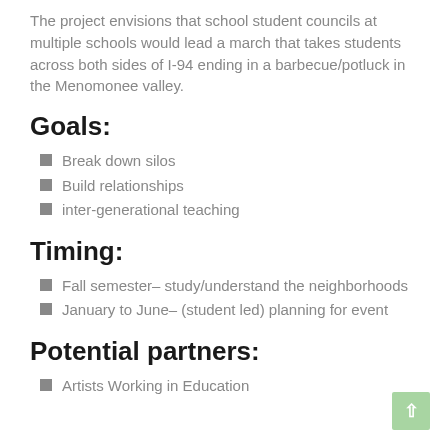The project envisions that school student councils at multiple schools would lead a march that takes students across both sides of I-94 ending in a barbecue/potluck in the Menomonee valley.
Goals:
Break down silos
Build relationships
inter-generational teaching
Timing:
Fall semester– study/understand the neighborhoods
January to June– (student led) planning for event
Potential partners:
Artists Working in Education